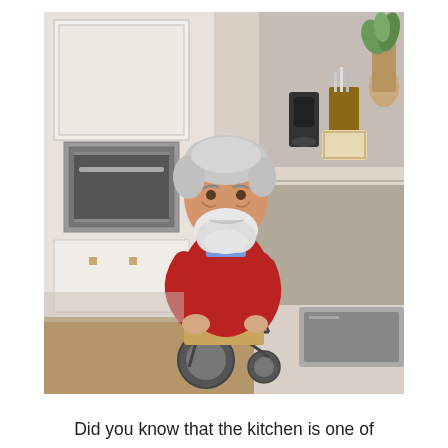[Figure (photo): An elderly man with white hair and beard, wearing a red sweater, sitting in a wheelchair in a modern kitchen. He is smiling and chopping green vegetables on a wooden cutting board placed on his lap. The kitchen has white cabinets, a built-in oven, and various kitchen appliances in the background. A sink is visible on the right side.]
Did you know that the kitchen is one of